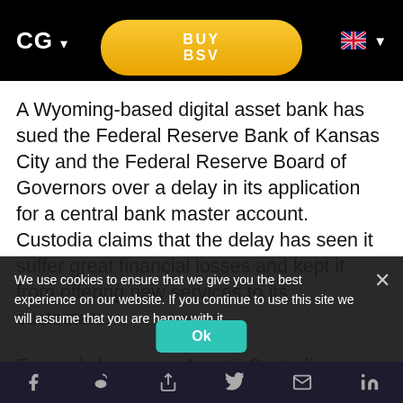CG ▾
[Figure (screenshot): BUY BSV yellow pill-shaped button]
A Wyoming-based digital asset bank has sued the Federal Reserve Bank of Kansas City and the Federal Reserve Board of Governors over a delay in its application for a central bank master account. Custodia claims that the delay has seen it suffer great financial losses and kept it from offering new services to its customers.
Formerly known as Avanti, Custodia launched in 2021 as the first digital native bank in the United States. It was founded and is headed
We use cookies to ensure that we give you the best experience on our website. If you continue to use this site we will assume that you are happy with it.
Ok